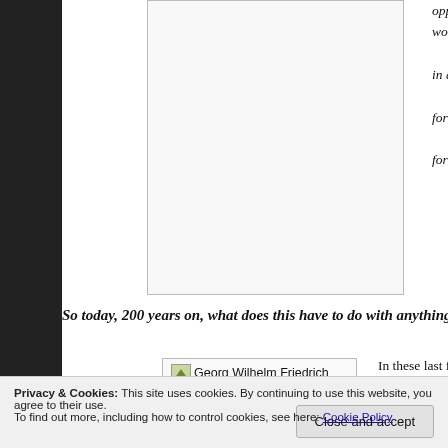[Figure (illustration): Large image placeholder box at top left of content area]
opposing idea. These would battle it out in a synthesis of the formulation only on for many of his subs
So today, 200 years on, what does this have to do with anything
[Figure (photo): Georg Wilhelm Friedrich Hegel 1770 - 1831]
In these last few weeks/months become so reactionary that p common courtesy of thinking of us are jus' letting" it all hang out, blowing up, accusing each the other group's full thesis. Thus do tempers flare, stereotypes f
Privacy & Cookies: This site uses cookies. By continuing to use this website, you agree to their use.
To find out more, including how to control cookies, see here: Cookie Policy
Close and accept